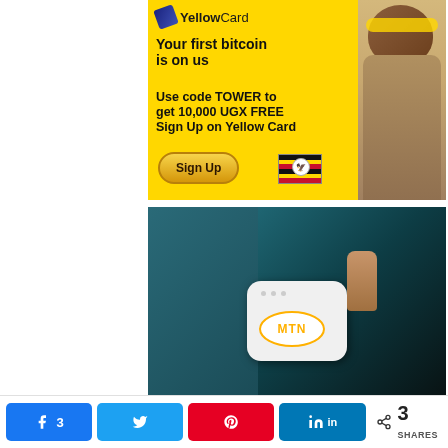[Figure (photo): YellowCard advertisement on yellow background. Text: 'Your first bitcoin is on us. Use code TOWER to get 10,000 UGX FREE Sign Up on Yellow Card'. Features a Sign Up button and Uganda flag. Woman with headphones visible on right side.]
[Figure (photo): MTN router/WiFi device being held, with MTN logo on the white device. Dark background with teal/blue fabric visible.]
3   [Facebook share] [Twitter share] [Pinterest share] [LinkedIn share]   < 3 SHARES